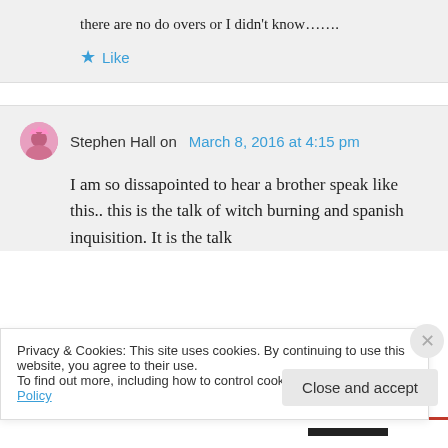there are no do overs or I didn't know…….
★ Like
Stephen Hall on March 8, 2016 at 4:15 pm
I am so dissapointed to hear a brother speak like this.. this is the talk of witch burning and spanish inquisition. It is the talk
Privacy & Cookies: This site uses cookies. By continuing to use this website, you agree to their use.
To find out more, including how to control cookies, see here: Cookie Policy
Close and accept